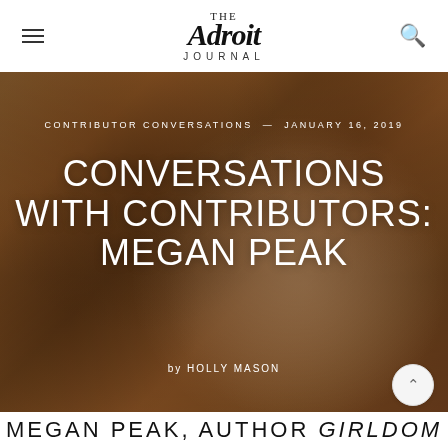THE ADROIT JOURNAL
[Figure (photo): Hero image with photo of Megan Peak smiling, overlaid on a brownish artistic background with circular metal grate patterns. White text overlaid on the image.]
CONTRIBUTOR CONVERSATIONS — JANUARY 16, 2019
CONVERSATIONS WITH CONTRIBUTORS: MEGAN PEAK
by HOLLY MASON
MEGAN PEAK, AUTHOR GIRLDOM